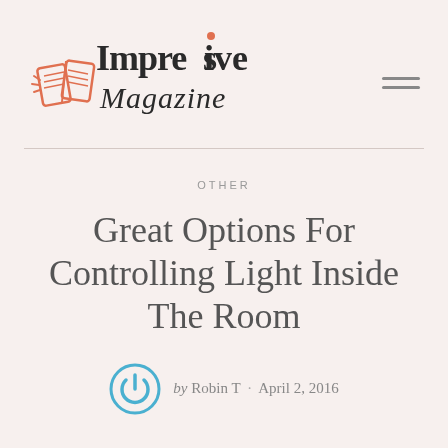[Figure (logo): Impresive Magazine logo with illustrated open book and stylized text]
OTHER
Great Options For Controlling Light Inside The Room
by Robin T · April 2, 2016